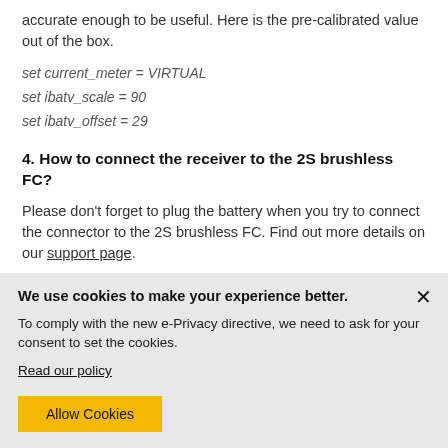accurate enough to be useful. Here is the pre-calibrated value out of the box.
set current_meter = VIRTUAL
set ibatv_scale = 90
set ibatv_offset = 29
4. How to connect the receiver to the 2S brushless FC?
Please don't forget to plug the battery when you try to connect the connector to the 2S brushless FC. Find out more details on our support page.
5. Cli Dump for different versions of the 2S
We use cookies to make your experience better. To comply with the new e-Privacy directive, we need to ask for your consent to set the cookies. Read our policy
Allow Cookies